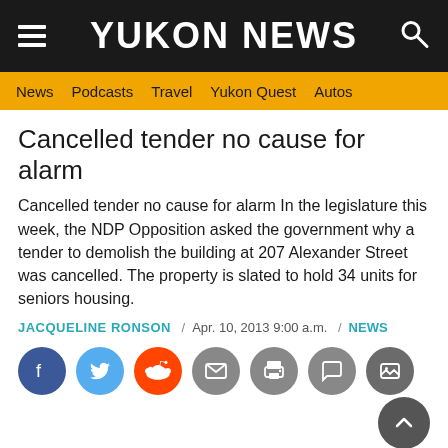YUKON NEWS
News  Podcasts  Travel  Yukon Quest  Autos
Cancelled tender no cause for alarm
Cancelled tender no cause for alarm In the legislature this week, the NDP Opposition asked the government why a tender to demolish the building at 207 Alexander Street was cancelled. The property is slated to hold 34 units for seniors housing.
JACQUELINE RONSON  /  Apr. 10, 2013 9:00 a.m.  /  NEWS
[Figure (infographic): Social sharing icons row: Facebook (blue), Twitter (light blue), Reddit (orange), Email (grey), Print (grey), Comment (grey), Gallery (dark grey)]
In the legislature this week, the NDP Opposition asked the